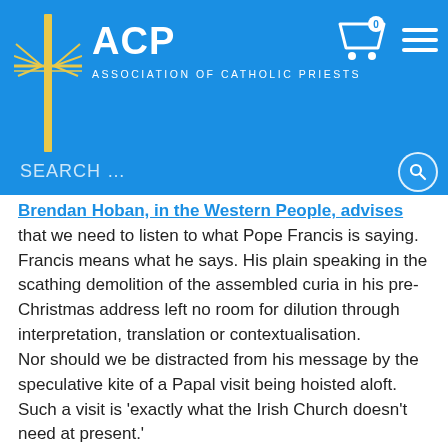ACP — Association of Catholic Priests
Brendan Hoban, in the Western People, advises that we need to listen to what Pope Francis is saying. Francis means what he says. His plain speaking in the scathing demolition of the assembled curia in his pre-Christmas address left no room for dilution through interpretation, translation or contextualisation.
Nor should we be distracted from his message by the speculative kite of a Papal visit being hoisted aloft. Such a visit is 'exactly what the Irish Church doesn't need at present.'
Read More